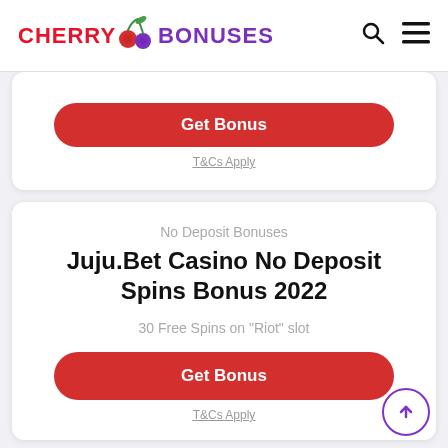CHERRY BONUSES
Get Bonus
T&Cs Apply
No Deposit Bonuses
Juju.Bet Casino No Deposit Spins Bonus 2022
30 Free Spins on "Riot" slot
Get Bonus
T&Cs Apply